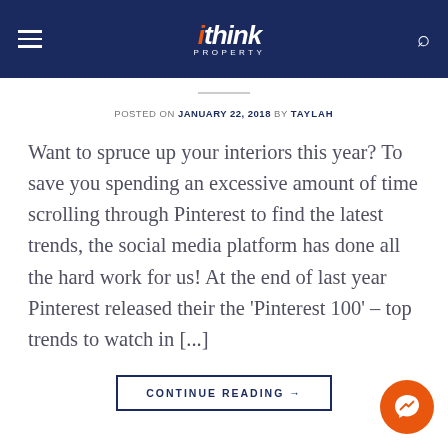ithink PROPERTY — navigation bar with hamburger menu and search icon
POSTED ON JANUARY 22, 2018 BY TAYLAH
Want to spruce up your interiors this year? To save you spending an excessive amount of time scrolling through Pinterest to find the latest trends, the social media platform has done all the hard work for us! At the end of last year Pinterest released their the 'Pinterest 100' – top trends to watch in [...]
CONTINUE READING →